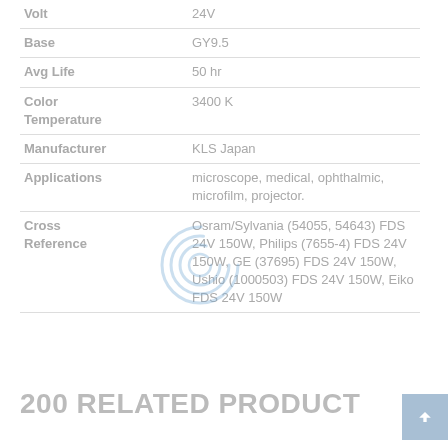| Property | Value |
| --- | --- |
| Volt | 24V |
| Base | GY9.5 |
| Avg Life | 50 hr |
| Color Temperature | 3400 K |
| Manufacturer | KLS Japan |
| Applications | microscope, medical, ophthalmic, microfilm, projector. |
| Cross Reference | Osram/Sylvania (54055, 54643) FDS 24V 150W, Philips (7655-4) FDS 24V 150W, GE (37695) FDS 24V 150W, Ushio (1000503) FDS 24V 150W, Eiko FDS 24V 150W |
200 RELATED PRODUCT